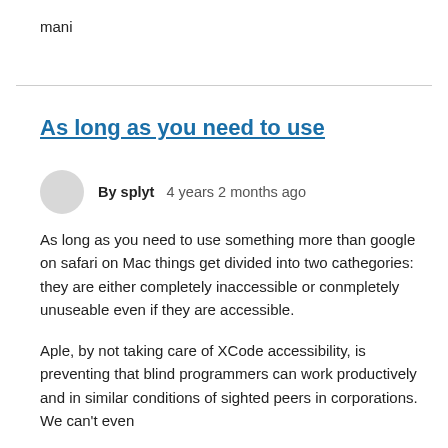mani
As long as you need to use
By splyt   4 years 2 months ago
As long as you need to use something more than google on safari on Mac things get divided into two cathegories: they are either completely inaccessible or conmpletely unuseable even if they are accessible.
Aple, by not taking care of XCode accessibility, is preventing that blind programmers can work productively and in similar conditions of sighted peers in corporations. We can't even